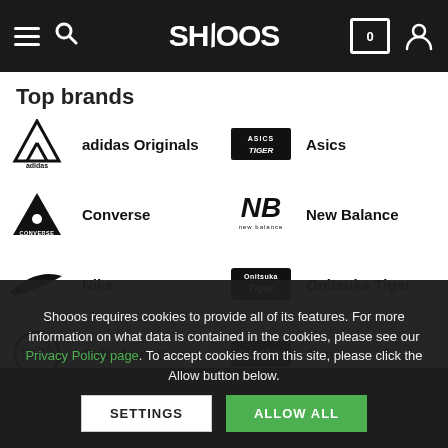Shooos navigation bar with hamburger menu, search, logo, cart (0), and profile icon
Top brands
adidas Originals
Asics
Converse
New Balance
Nike
Onitsuka Tiger
Palladium Boots
Puma
Reebok
Timberland
Shooos requires cookies to provide all of its features. For more information on what data is contained in the cookies, please see our Privacy Policy page. To accept cookies from this site, please click the Allow button below.
SETTINGS | ALLOW ALL